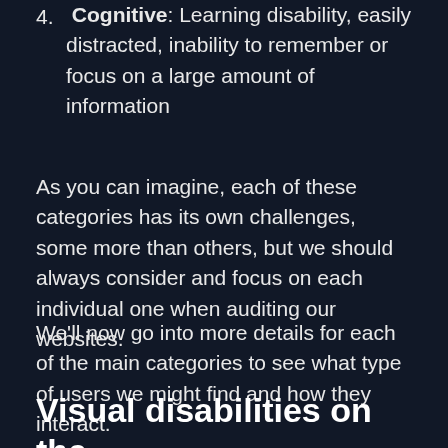4. Cognitive: Learning disability, easily distracted, inability to remember or focus on a large amount of information
As you can imagine, each of these categories has its own challenges, some more than others, but we should always consider and focus on each individual one when auditing our websites.
We'll now go into more details for each of the main categories to see what type of users we might find and how they interact.
Visual disabilities on the